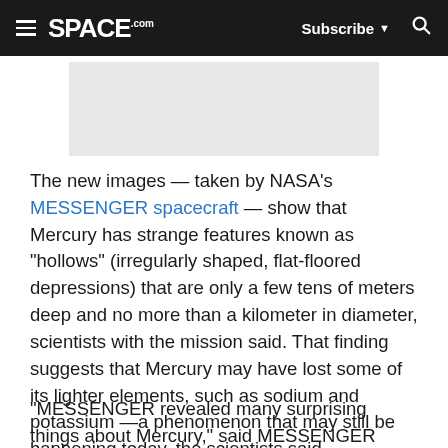SPACE.com | Subscribe | Search
[Figure (other): Gray rectangular advertisement placeholder banner]
The new images — taken by NASA's MESSENGER spacecraft — show that Mercury has strange features known as "hollows" (irregularly shaped, flat-floored depressions) that are only a few tens of meters deep and no more than a kilometer in diameter, scientists with the mission said. That finding suggests that Mercury may have lost some of its lighter elements, such as sodium and potassium —a phenomenon that may still be happening today, the scientists said.
"MESSENGER revealed many surprising things about Mercury," said MESSENGER participating scientist